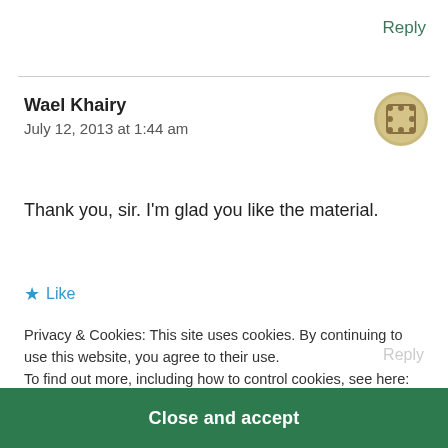Reply
Wael Khairy
July 12, 2013 at 1:44 am
[Figure (illustration): Circular avatar icon with a dotted/pixel pattern in olive/gold tones]
Thank you, sir. I'm glad you like the material.
★ Like
Privacy & Cookies: This site uses cookies. By continuing to use this website, you agree to their use.
To find out more, including how to control cookies, see here:
Cookie Policy
Reply
Close and accept